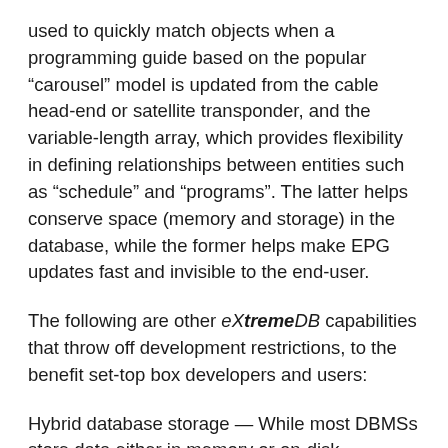used to quickly match objects when a programming guide based on the popular “carousel” model is updated from the cable head-end or satellite transponder, and the variable-length array, which provides flexibility in defining relationships between entities such as “schedule” and “programs”. The latter helps conserve space (memory and storage) in the database, while the former helps make EPG updates fast and invisible to the end-user.
The following are other eXtremeDB capabilities that throw off development restrictions, to the benefit set-top box developers and users:
Hybrid database storage — While most DBMSs store data either in memory or on-disk, McObject’s eXtremeDB Fusion technology combines in-memory and on-disk storage, including, if desired, in the same database instance. This page intentionally cut off.